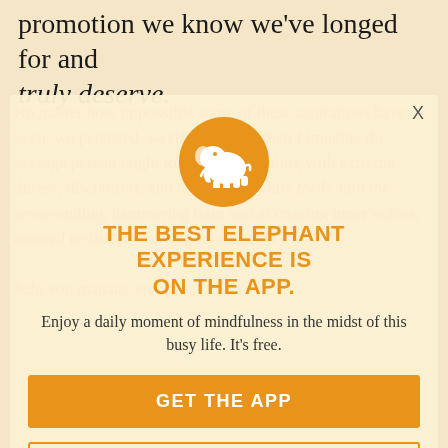promotion we know we've longed for and truly deserve.
No matter how impossible some of these aspirations have been, we persisted, sacrificing more than I imagine the average person ought to, willingly dealing with extreme duress, discomfort, and discomfort while forth, into the never-ending, hammering train and at coaxing inner voices, assured ne that by moving rejuvenated help you manage yourself
[Figure (logo): White elephant icon on an orange circular background - Elephant Journal app logo]
THE BEST ELEPHANT EXPERIENCE IS ON THE APP.
Enjoy a daily moment of mindfulness in the midst of this busy life. It's free.
GET THE APP
OPEN IN APP